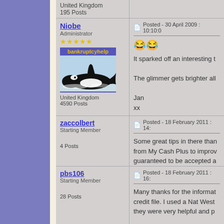United Kingdom
195 Posts
Niobe
Administrator
★★★★★
bankruptcyhelp
mentor
United Kingdom
4590 Posts
Posted - 30 April 2009 : 10:10:0
It sparked off an interesting t
The glimmer gets brighter all
Jan
xx
zaccolbert
Starting Member
4 Posts
Posted - 18 February 2011 : 14:
Some great tips in there than from My Cash Plus to improv guaranteed to be accepted a
pbs106
Starting Member
28 Posts
Posted - 18 February 2011 : 16:
Many thanks for the informat credit file. I used a Nat West they were very helpful and p